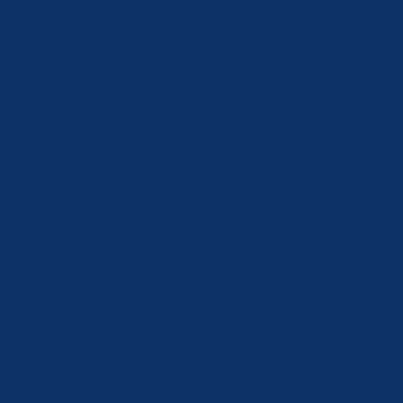at ch d o gs p er mi tt e d, a n d ev e n co n d o n e d by its sil e nc e, re